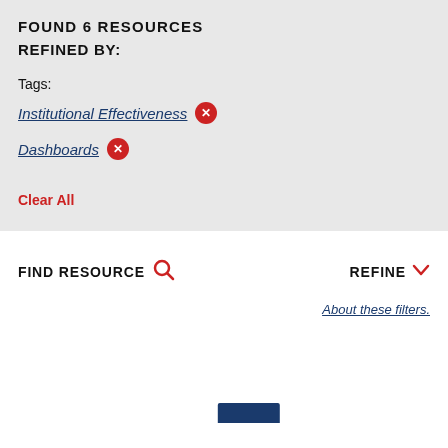FOUND 6 RESOURCES
REFINED BY:
Tags:
Institutional Effectiveness ×
Dashboards ×
Clear All
FIND RESOURCE
REFINE
About these filters.